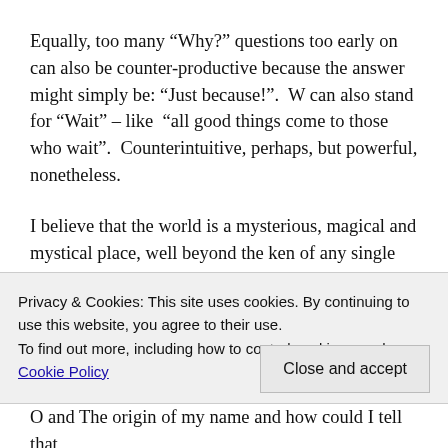Equally, too many “Why?” questions too early on can also be counter-productive because the answer might simply be: “Just because!”.  W can also stand for “Wait” – like  “all good things come to those who wait”.  Counterintuitive, perhaps, but powerful, nonetheless.
I believe that the world is a mysterious, magical and mystical place, well beyond the ken of any single human being. Science and reason are useful tools, but by adopting the Zen-like “beginner’s mind” with an inquisitive sense of discovery, prediction becomes less
Privacy & Cookies: This site uses cookies. By continuing to use this website, you agree to their use.
To find out more, including how to control cookies, see here: Cookie Policy
Close and accept
O and The origin of my name and how could I tell that